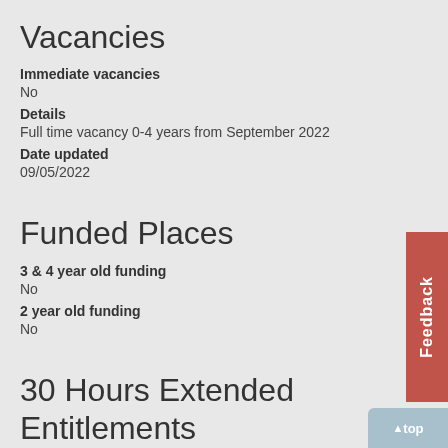Vacancies
Immediate vacancies
No
Details
Full time vacancy 0-4 years from September 2022
Date updated
09/05/2022
Funded Places
3 & 4 year old funding
No
2 year old funding
No
30 Hours Extended Entitlements
Additional 15 hours of *Free* childcare offered
No
Intending to provide 30 Hours?
No